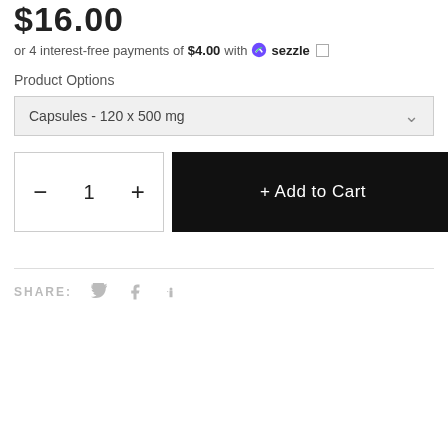$16.00
or 4 interest-free payments of $4.00 with sezzle □
Product Options
Capsules - 120 x 500 mg
- 1 + Add to Cart
SHARE: